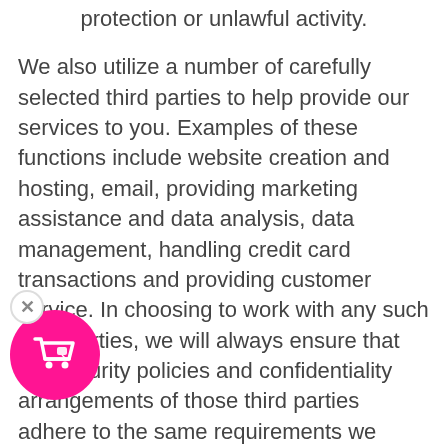protection or unlawful activity.
We also utilize a number of carefully selected third parties to help provide our services to you. Examples of these functions include website creation and hosting, email, providing marketing assistance and data analysis, data management, handling credit card transactions and providing customer service. In choosing to work with any such third parties, we will always ensure that the security policies and confidentiality arrangements of those third parties adhere to the same requirements we ourselves impose and expect, as a minimum. No ownership rights to the data will be transferred to any third party
[Figure (illustration): A pink/magenta circular shopping cart icon with a close (X) button in the top-left corner, overlaid on the bottom-left of the page.]